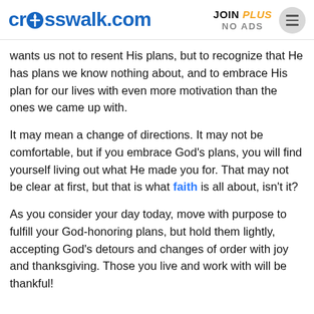crosswalk.com | JOIN PLUS NO ADS
wants us not to resent His plans, but to recognize that He has plans we know nothing about, and to embrace His plan for our lives with even more motivation than the ones we came up with.
It may mean a change of directions. It may not be comfortable, but if you embrace God’s plans, you will find yourself living out what He made you for. That may not be clear at first, but that is what faith is all about, isn’t it?
As you consider your day today, move with purpose to fulfill your God-honoring plans, but hold them lightly, accepting God’s detours and changes of order with joy and thanksgiving. Those you live and work with will be thankful!